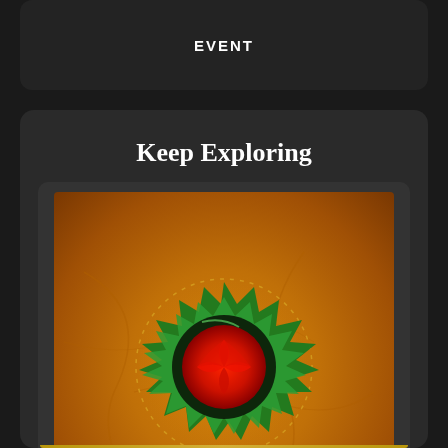EVENT
Keep Exploring
[Figure (illustration): Digital fractal art image showing a watermelon-like monster creature with green spiked edges and red center, surrounded by golden/orange glowing background with organic swirling patterns]
Watermelon Monster
Art